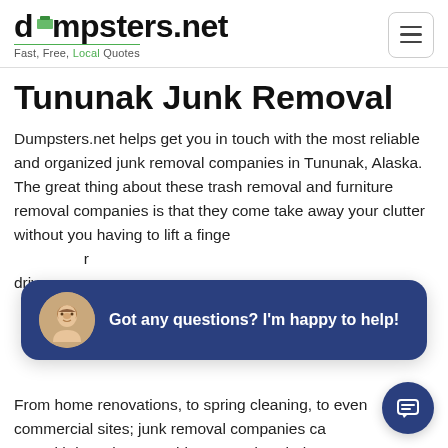dumpsters.net — Fast, Free, Local Quotes
Tununak Junk Removal
Dumpsters.net helps get you in touch with the most reliable and organized junk removal companies in Tununak, Alaska. The great thing about these trash removal and furniture removal companies is that they come take away your clutter without you having to lift a finger. Items are picked up directly from your driveway.
[Figure (illustration): Chat bubble overlay with avatar photo of smiling man and text: Got any questions? I'm happy to help!]
From home renovations, to spring cleaning, to even commercial sites; junk removal companies can help you with just about anything around Bethel, Co